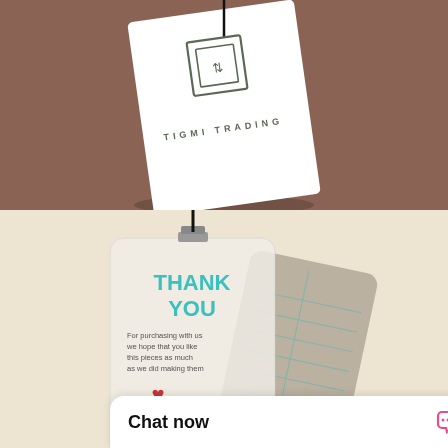[Figure (photo): Top photo: white hang tag with 'TIGMI TRADING' text and geometric logo (square with arrows), on a brown/tan background with a black cord attached.]
[Figure (photo): Bottom photo: frosted/clear plastic hang tag with 'THANK YOU' in teal text, 'For purchasing with us, we hope that you like this pieces as much as we did making them', a red heart logo, 'Proudly designed Australia', 'Size:', 'info@blue...', 'www.ble...' text. Behind it is a darker version of the same card showing a grid/contact layout. A clip/metal clasp is at the top with a black cord. The background is cream/beige.]
Chat now